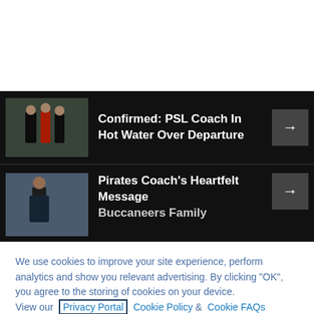[Figure (screenshot): News card 1: thumbnail of soccer referees/players on dark background with headline 'Confirmed: PSL Coach In Hot Water Over Departure' and arrow button]
[Figure (screenshot): News card 2: thumbnail of a coach on dark background with headline 'Pirates Coach's Heartfelt Message Buccaneers Family' and arrow button (partially visible)]
We use cookies to improve your site experience, perform analytics and show you relevant advertising. By clicking "OK", you agree to the storing of cookies on your device. View our Privacy Portal Cookie Policy & Cookie FAQs